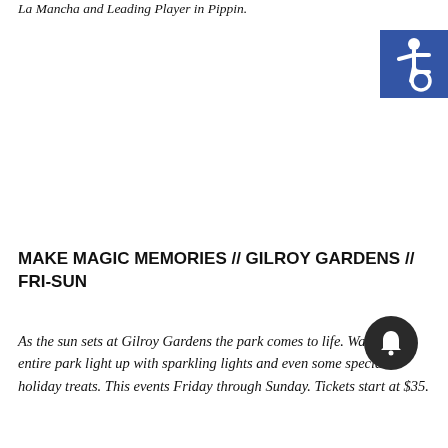La Mancha and Leading Player in Pippin.
[Figure (other): Blue accessibility icon (wheelchair symbol) in a blue square, positioned top-right corner]
MAKE MAGIC MEMORIES // GILROY GARDENS // FRI-SUN
As the sun sets at Gilroy Gardens the park comes to life. Watch the entire park light up with sparkling lights and even some special holiday treats. This events Friday through Sunday. Tickets start at $35.
[Figure (other): Dark circular notification/bell badge icon, overlapping the body text area, bottom-right]